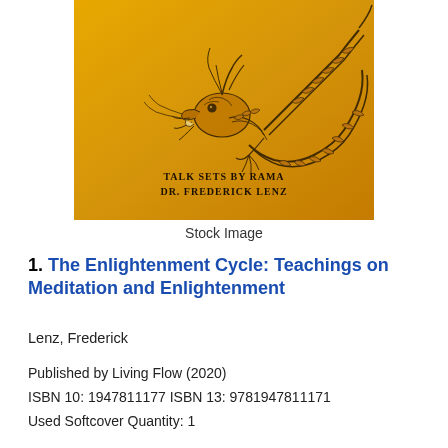[Figure (illustration): Book cover with golden/amber background featuring a detailed line-drawing of a Chinese dragon. Text on cover reads 'TALK SETS BY RAMA DR. FREDERICK LENZ']
Stock Image
1. The Enlightenment Cycle: Teachings on Meditation and Enlightenment
Lenz, Frederick
Published by Living Flow (2020)
ISBN 10: 1947811177 ISBN 13: 9781947811171
Used Softcover Quantity: 1